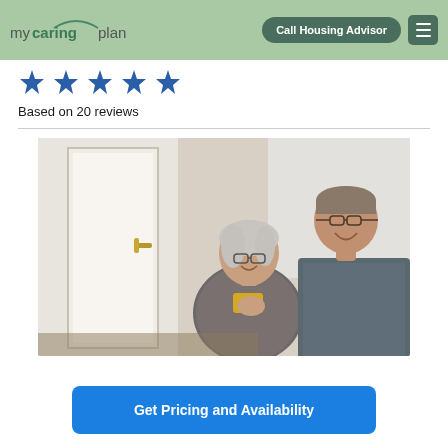mycaringplan | Call Housing Advisor
[Figure (illustration): Five blue star rating icons in a row]
Based on 20 reviews
[Figure (photo): Two elderly people, a woman and a man, both smiling and wearing glasses, in a bright indoor setting]
Get Pricing and Availability